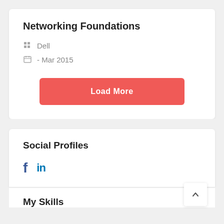Networking Foundations
Dell
- Mar 2015
Load More
Social Profiles
f in
My Skills